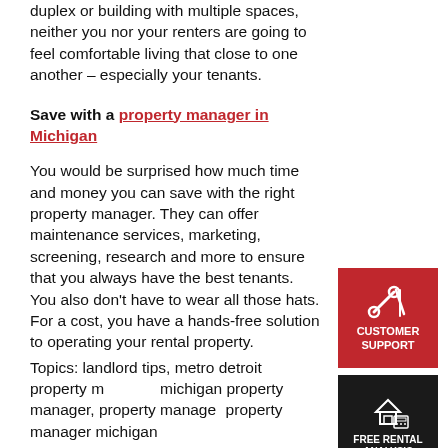duplex or building with multiple spaces, neither you nor your renters are going to feel comfortable living that close to one another – especially your tenants.
Save with a property manager in Michigan
You would be surprised how much time and money you can save with the right property manager. They can offer maintenance services, marketing, screening, research and more to ensure that you always have the best tenants. You also don't have to wear all those hats. For a cost, you have a hands-free solution to operating your rental property.
[Figure (infographic): Red square badge with wrench and screwdriver icon, text CUSTOMER SUPPORT]
[Figure (infographic): Black square badge with house and calculator icon, text FREE RENTAL ANALYSIS]
Topics: landlord tips, metro detroit property manager, michigan property manager, property manager michigan, property manager michigan